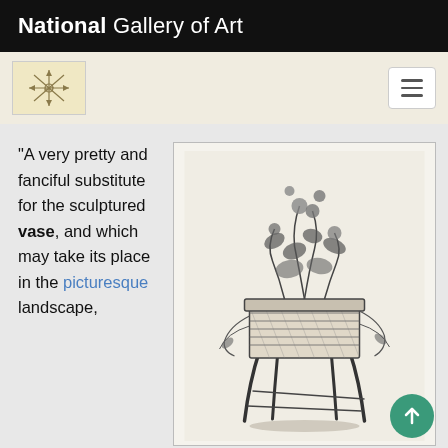National Gallery of Art
“A very pretty and fanciful substitute for the sculptured vase, and which may take its place in the picturesque landscape,
[Figure (illustration): Black and white engraving of a rustic wooden planter or vase stand filled with flowering plants, displayed on a pedestal-like rustic stand made of branches or logs.]
Fig. 12, Anonymous, “A pleasing rustic